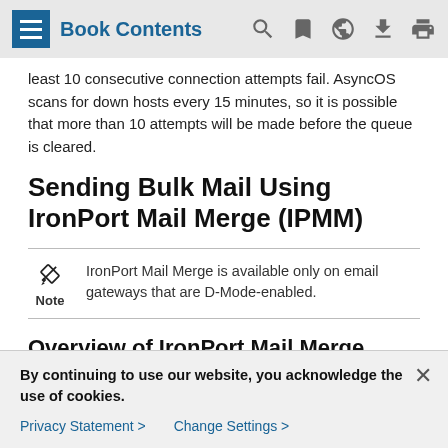Book Contents
least 10 consecutive connection attempts fail. AsyncOS scans for down hosts every 15 minutes, so it is possible that more than 10 attempts will be made before the queue is cleared.
Sending Bulk Mail Using IronPort Mail Merge (IPMM)
Note: IronPort Mail Merge is available only on email gateways that are D-Mode-enabled.
Overview of IronPort Mail Merge
IronPort Mail Merge removes the burden of generating
By continuing to use our website, you acknowledge the use of cookies.
Privacy Statement > Change Settings >